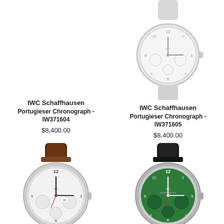[Figure (photo): IWC Portugieser Chronograph watch IW371604, white dial, light gray strap, partial view cropped at top]
IWC Schaffhausen
Portugieser Chronograph - IW371604
$8,400.00
[Figure (photo): IWC Portugieser Chronograph watch IW371605, white dial, light gray strap, partial view cropped at top]
IWC Schaffhausen
Portugieser Chronograph - IW371605
$8,400.00
[Figure (photo): IWC Portofino Chronograph watch, white/silver dial with sub-dials, brown crocodile leather strap, stainless steel case]
[Figure (photo): IWC Portugieser Chronograph watch, green dial, black crocodile leather strap, stainless steel case]